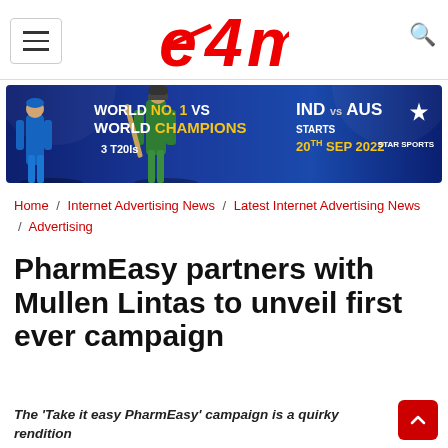e4m
[Figure (photo): Star Sports advertisement banner: IND vs AUS, World No.1 vs World Champions, 3 T20Is, Starts 20th Sep 2022]
Home / Internet Advertising News / Latest Internet Advertising News / Advertising
PharmEasy partners with Mullen Lintas to unveil first ever campaign
The 'Take it easy PharmEasy' campaign is a quirky rendition of the popular AR Rahman track 'Urvashi' from the movie Madhur Bhandarkar...